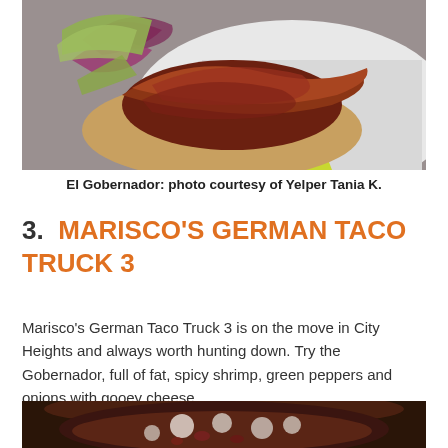[Figure (photo): Close-up photo of El Gobernador taco with shrimp, caramelized onions, and green cabbage on a corn tortilla, on a white plate with yellow napkin underneath.]
El Gobernador: photo courtesy of Yelper Tania K.
3.  MARISCO'S GERMAN TACO TRUCK 3
Marisco's German Taco Truck 3 is on the move in City Heights and always worth hunting down. Try the Gobernador, full of fat, spicy shrimp, green peppers and onions with gooey cheese.
[Figure (photo): Close-up photo of a dark bowl filled with a bean and cheese dish, partially visible at the bottom of the page.]